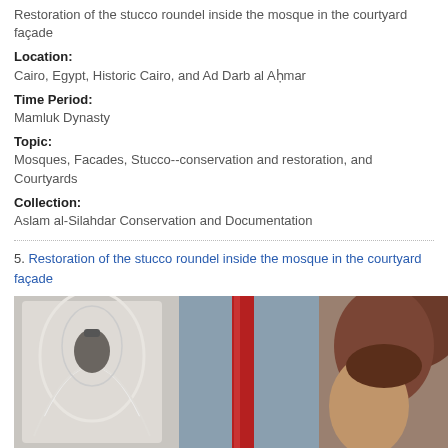Restoration of the stucco roundel inside the mosque in the courtyard façade
Location:
Cairo, Egypt, Historic Cairo, and Ad Darb al Aḥmar
Time Period:
Mamluk Dynasty
Topic:
Mosques, Facades, Stucco--conservation and restoration, and Courtyards
Collection:
Aslam al-Silahdar Conservation and Documentation
5. Restoration of the stucco roundel inside the mosque in the courtyard façade
Bookmark
[Figure (photo): Photograph showing restoration work at the mosque: stucco decorative panel on the left, a red scaffolding pole in the center, blue fabric/tarp in background, and a person's head on the right side.]